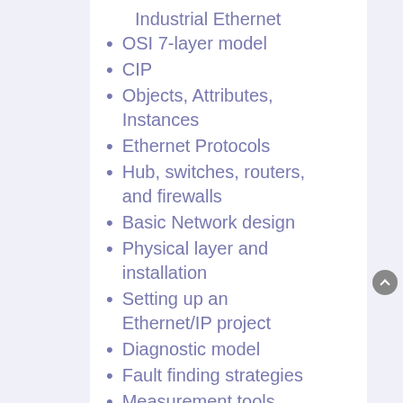Industrial Ethernet
OSI 7-layer model
CIP
Objects, Attributes, Instances
Ethernet Protocols
Hub, switches, routers, and firewalls
Basic Network design
Physical layer and installation
Setting up an Ethernet/IP project
Diagnostic model
Fault finding strategies
Measurement tools